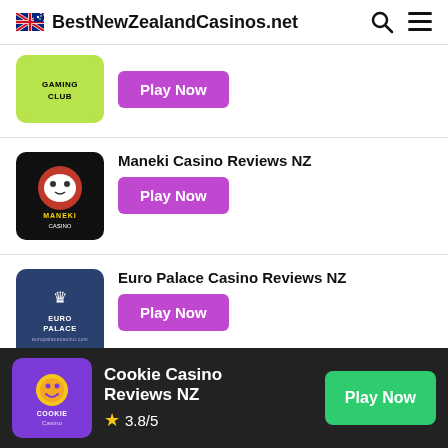BestNewZealandCasinos.net
[Figure (logo): Gaming Club casino logo - green background with GAMINGCLUB text]
Play Now
Maneki Casino Reviews NZ
[Figure (logo): Maneki Casino logo - black background with red and white cat mascot]
Play Now
Euro Palace Casino Reviews NZ
[Figure (logo): Euro Palace casino logo - dark blue background with crown and EURO PALACE text]
Play Now
7Bit Casino Reviews NZ
[Figure (logo): Cookie Casino logo - purple background with cookie character]
Cookie Casino Reviews NZ
3.8/5
Play Now